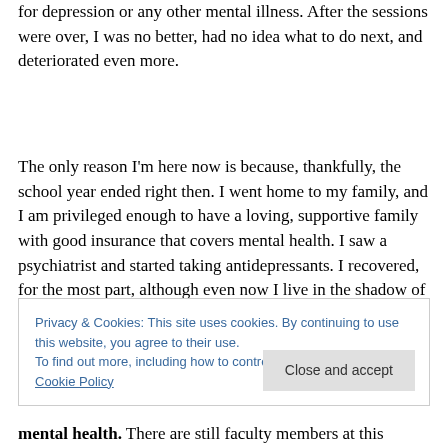for depression or any other mental illness. After the sessions were over, I was no better, had no idea what to do next, and deteriorated even more.
The only reason I'm here now is because, thankfully, the school year ended right then. I went home to my family, and I am privileged enough to have a loving, supportive family with good insurance that covers mental health. I saw a psychiatrist and started taking antidepressants. I recovered, for the most part, although even now I live in the shadow of the knowledge that depression as chronic
Privacy & Cookies: This site uses cookies. By continuing to use this website, you agree to their use.
To find out more, including how to control cookies, see here: Cookie Policy
mental health. There are still faculty members at this